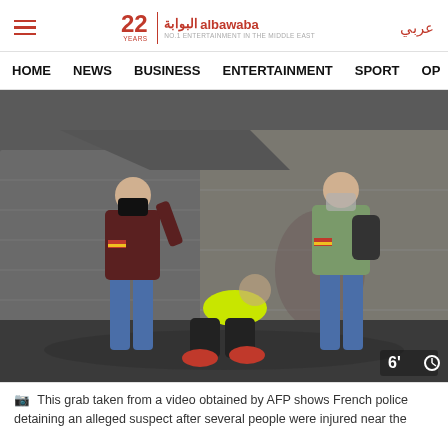22 Years | albawaba | عربي
HOME  NEWS  BUSINESS  ENTERTAINMENT  SPORT  OP
[Figure (photo): Video grab showing French police detaining an alleged suspect on a rainy street, with one person sitting on the ground wearing a yellow shirt and red shoes, flanked by two officers in masks.]
This grab taken from a video obtained by AFP shows French police detaining an alleged suspect after several people were injured near the